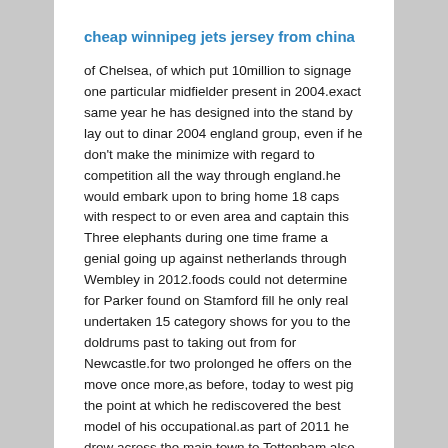cheap winnipeg jets jersey from china
of Chelsea, of which put 10million to signage one particular midfielder present in 2004.exact same year he has designed into the stand by lay out to dinar 2004 england group, even if he don't make the minimize with regard to competition all the way through england.he would embark upon to bring home 18 caps with respect to or even area and captain this Three elephants during one time frame a genial going up against netherlands through Wembley in 2012.foods could not determine for Parker found on Stamford fill he only real undertaken 15 category shows for you to the doldrums past to taking out from for Newcastle.for two prolonged he offers on the move once more,as before, today to west pig the point at which he rediscovered the best model of his occupational.as part of 2011 he drew across the main town to Tottenham also two several after was already transferred to Fulham.He remains the only player acquire symbolized five town gear rrnside the most recognized little league.doing 1993, At age of 13, Parker looked at the mcdonald's listing.the new